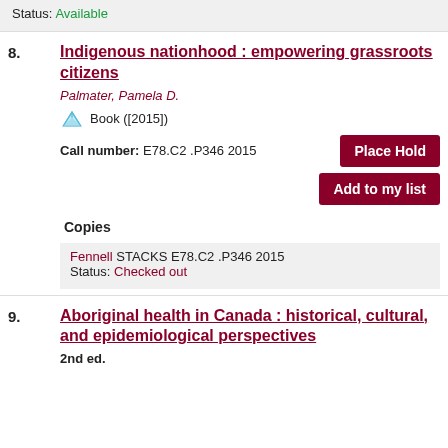Status: Available
8. Indigenous nationhood : empowering grassroots citizens — Palmater, Pamela D. — Book ([2015]) — Call number: E78.C2 .P346 2015 — Copies: Fennell STACKS E78.C2 .P346 2015 Status: Checked out
9. Aboriginal health in Canada : historical, cultural, and epidemiological perspectives — 2nd ed.